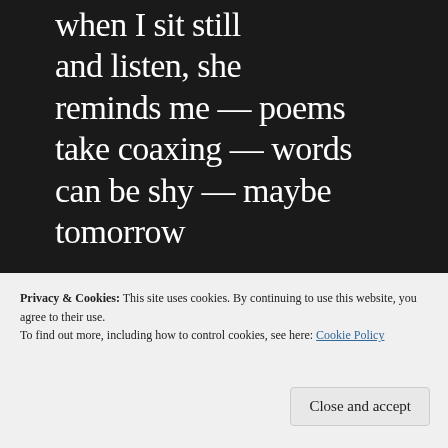when I sit still
and listen, she
reminds me — poems
take coaxing — words
can be shy — maybe
tomorrow
[Figure (screenshot): Advertisement banner: 'Build a writing habit. Post on the go.' with GET THE APP button and WordPress logo]
REPORT THIS AD
Privacy & Cookies: This site uses cookies. By continuing to use this website, you agree to their use.
To find out more, including how to control cookies, see here: Cookie Policy
Close and accept